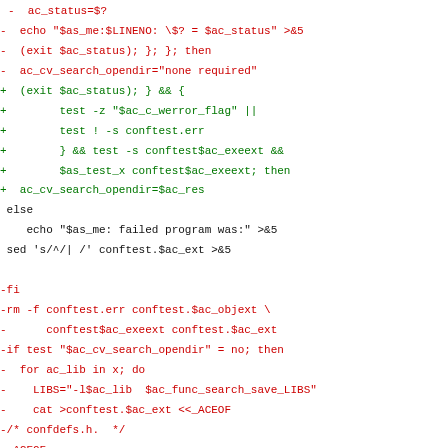Diff/patch code snippet showing shell script changes with red (removed) and green (added) lines